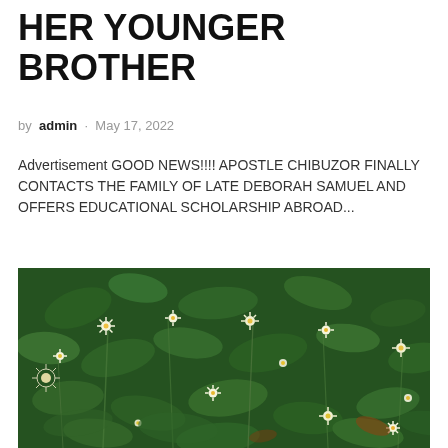HER YOUNGER BROTHER
by admin · May 17, 2022
Advertisement GOOD NEWS!!!! APOSTLE CHIBUZOR FINALLY CONTACTS THE FAMILY OF LATE DEBORAH SAMUEL AND OFFERS EDUCATIONAL SCHOLARSHIP ABROAD...
[Figure (photo): Close-up photograph of green plants and small white/yellow wildflowers growing densely together outdoors.]